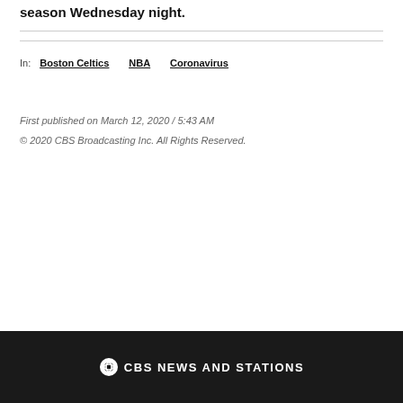The NBA's G League also suspended its 2019-20 season Wednesday night.
In: Boston Celtics   NBA   Coronavirus
First published on March 12, 2020 / 5:43 AM
© 2020 CBS Broadcasting Inc. All Rights Reserved.
CBS NEWS AND STATIONS